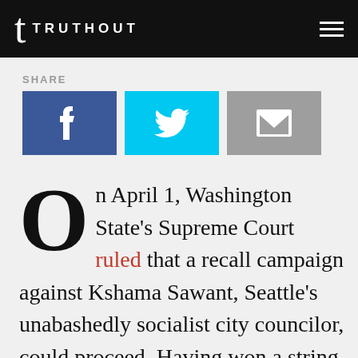TRUTHOUT
SHARE
[Figure (other): Social share buttons: Facebook (blue), Twitter (cyan), Email (grey)]
On April 1, Washington State's Supreme Court ruled that a recall campaign against Kshama Sawant, Seattle's unabashedly socialist city councilor, could proceed. Having won a string of groundbreaking victories for working people, Sawant has earned the fierce ire of capital.